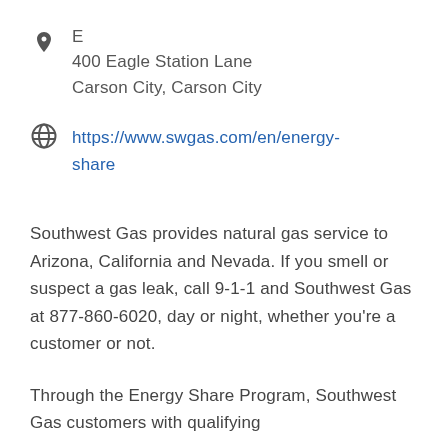E
400 Eagle Station Lane
Carson City, Carson City
https://www.swgas.com/en/energy-share
Southwest Gas provides natural gas service to Arizona, California and Nevada. If you smell or suspect a gas leak, call 9-1-1 and Southwest Gas at 877-860-6020, day or night, whether you're a customer or not.
Through the Energy Share Program, Southwest Gas customers with qualifying